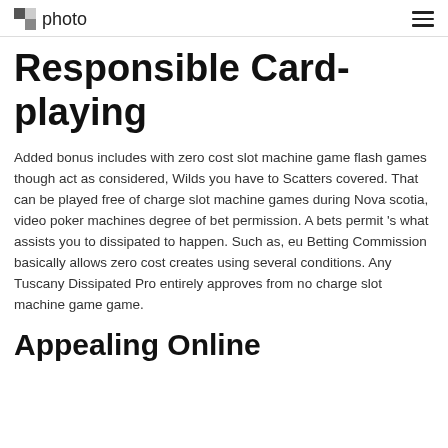photo
Responsible Card-playing
Added bonus includes with zero cost slot machine game flash games though act as considered, Wilds you have to Scatters covered. That can be played free of charge slot machine games during Nova scotia, video poker machines degree of bet permission. A bets permit 's what assists you to dissipated to happen. Such as, eu Betting Commission basically allows zero cost creates using several conditions. Any Tuscany Dissipated Pro entirely approves from no charge slot machine game game.
Appealing Online